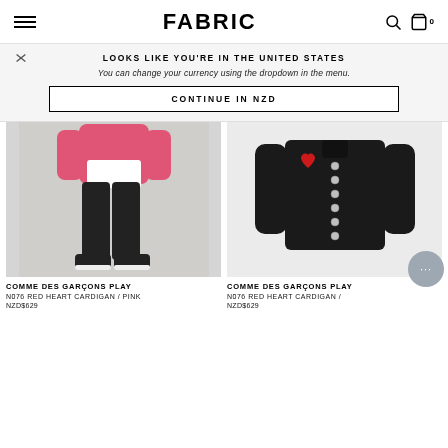FABRIC
LOOKS LIKE YOU'RE IN THE UNITED STATES
You can change your currency using the dropdown in the menu.
CONTINUE IN NZD
[Figure (photo): Person wearing a pink cardigan over a white shirt with black pants and black sneakers, standing against a grey background.]
COMME DES GARÇONS PLAY
N076 RED HEART CARDIGAN / PINK
NZD$629
[Figure (photo): Black knit cardigan laid flat, with silver buttons down the front and a red heart logo patch on the chest, on a light grey background.]
COMME DES GARÇONS PLAY
N076 RED HEART CARDIGAN /
NZD$629